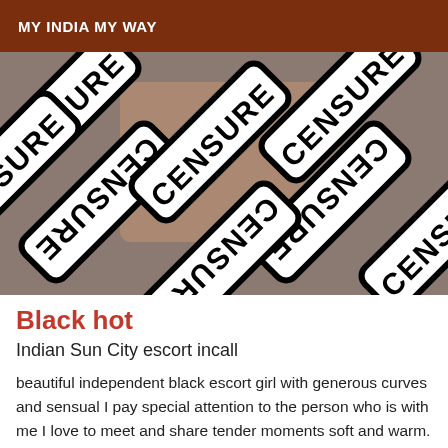MY INDIA MY WAY
[Figure (photo): Censored image showing multiple overlapping black-and-white 'CENSURE' signs/stamps arranged at various angles, obscuring an image underneath.]
Black hot
Indian Sun City escort incall
beautiful independent black escort girl with generous curves and sensual I pay special attention to the person who is with me I love to meet and share tender moments soft and warm. I receive discreetly in an apartment in